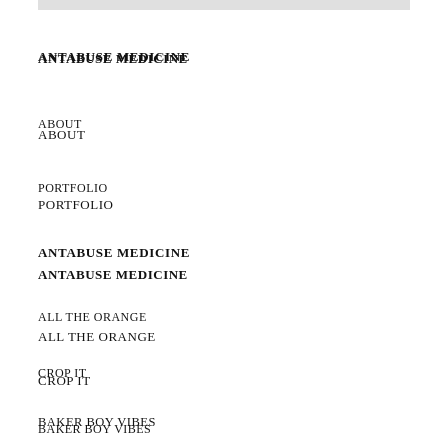ANTABUSE MEDICINE
ABOUT
PORTFOLIO
ANTABUSE MEDICINE
ALL THE ORANGE
CROP IT
BAKER BOY VIBES
TARTAN TREWS
IT'S BRITNEY B****